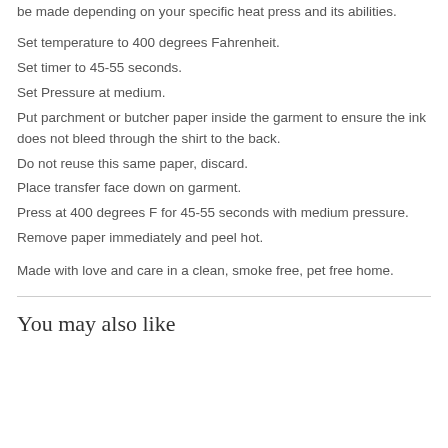be made depending on your specific heat press and its abilities.
Set temperature to 400 degrees Fahrenheit.
Set timer to 45-55 seconds.
Set Pressure at medium.
Put parchment or butcher paper inside the garment to ensure the ink does not bleed through the shirt to the back.
Do not reuse this same paper, discard.
Place transfer face down on garment.
Press at 400 degrees F for 45-55 seconds with medium pressure.
Remove paper immediately and peel hot.
Made with love and care in a clean, smoke free, pet free home.
You may also like